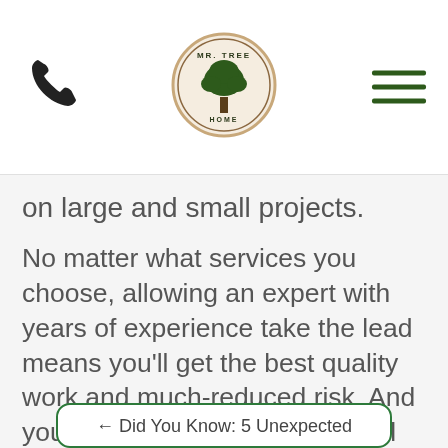Mr. Tree Home (logo with phone and hamburger menu)
on large and small projects.
No matter what services you choose, allowing an expert with years of experience take the lead means you'll get the best quality work and much-reduced risk. And you can count on a professional service not to leave a mess behind.
← Did You Know: 5 Unexpected